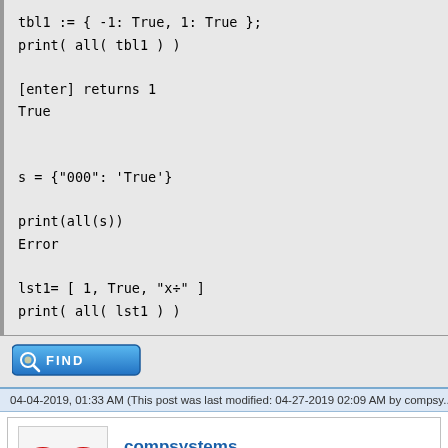tbl1 := { -1: True, 1: True };
print( all( tbl1 ) )

[enter] returns 1
True


s = {"000": 'True'}

print(all(s))
Error

lst1= [ 1, True, "x÷" ]
print( all( lst1 ) )
[Figure (screenshot): A blue FIND button with a magnifying glass icon]
04-04-2019, 01:33 AM (This post was last modified: 04-27-2019 02:09 AM by compsy...
[Figure (logo): Red infinity symbol logo for compsystems user]
compsystems
Senior Member
RE: hpPrime, with Python Syntax, beyond the Python numeric language